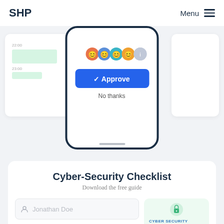SHP  Menu
[Figure (screenshot): Screenshot of a web application showing a scheduling/approval interface with user avatars and a blue Approve button with No thanks option, overlaid on a chart background]
Cyber-Security Checklist
Download the free guide
[Figure (screenshot): Form input field with placeholder 'Jonathan Doe' and a cyber security card with lock icon and text 'CYBER SECURITY - Recent reports show that hackers attack a computer in the US every 30 seconds']